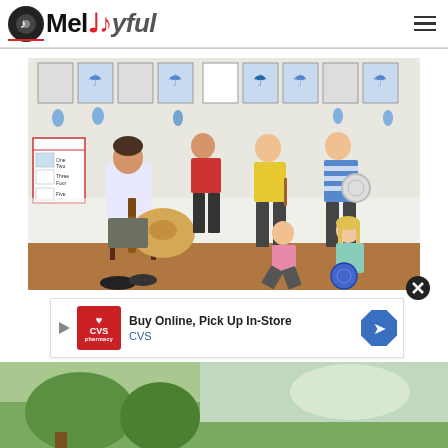Melodyful
[Figure (photo): Music teacher sitting on a chair playing acoustic guitar with five children around him in a colorful classroom decorated with umbrella and raindrop artwork on the walls. Children are playing various instruments including tambourine and maracas.]
[Figure (photo): Partial view of a second photo at the bottom of the page, partially obscured by an advertisement overlay.]
[Figure (other): CVS Pharmacy advertisement banner: Buy Online, Pick Up In-Store, CVS]